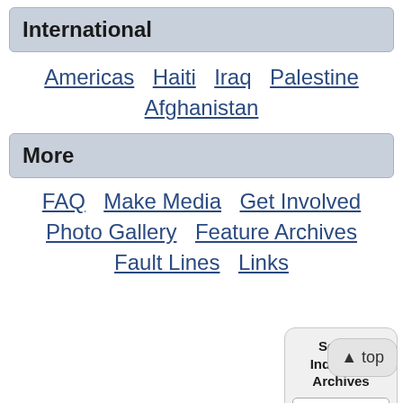International
Americas  Haiti  Iraq  Palestine  Afghanistan
More
FAQ  Make Media  Get Involved  Photo Gallery  Feature Archives  Fault Lines  Links
Search Indybay's Archives
Enter keyword(s)
▲ top